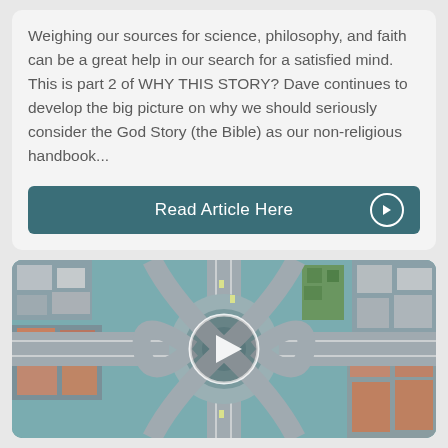Weighing our sources for science, philosophy, and faith can be a great help in our search for a satisfied mind. This is part 2 of WHY THIS STORY? Dave continues to develop the big picture on why we should seriously consider the God Story (the Bible) as our non-religious handbook...
[Figure (other): Teal button with text 'Read Article Here' and a white circle arrow icon on the right]
[Figure (photo): Aerial view of a complex highway interchange with circular ramps and surrounding urban buildings, with a white play button overlay indicating a video]